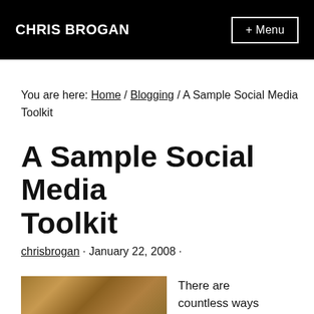CHRIS BROGAN   + Menu
You are here: Home / Blogging / A Sample Social Media Toolkit
A Sample Social Media Toolkit
chrisbrogan · January 22, 2008 ·
[Figure (photo): A wooden toolbox with various tools, shown partially at the bottom left of the page.]
There are countless ways